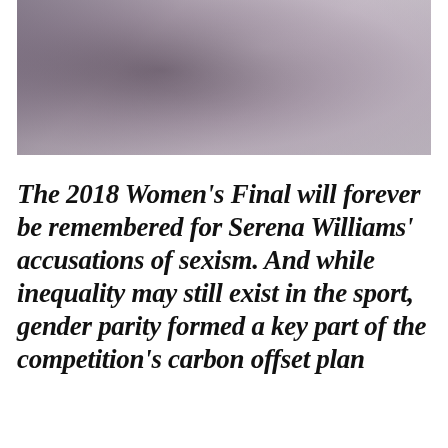[Figure (photo): A faded/washed-out photograph showing people, likely at a sports event. The image is muted with gray and mauve tones, showing figures in what appears to be an embrace or interaction.]
The 2018 Women's Final will forever be remembered for Serena Williams' accusations of sexism. And while inequality may still exist in the sport, gender parity formed a key part of the competition's carbon offset plan